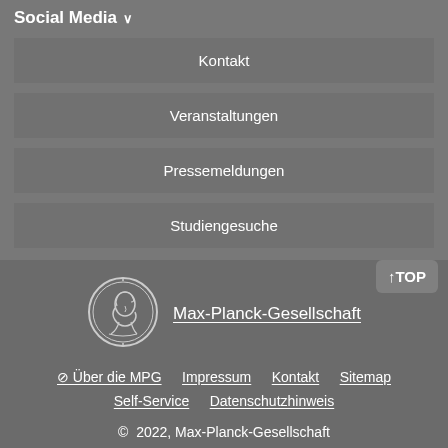Social Media ∨
Kontakt
Veranstaltungen
Pressemeldungen
Studiengesuche
[Figure (logo): Max-Planck-Gesellschaft circular coin logo with figure in profile]
Max-Planck-Gesellschaft
↑ TOP
⊘ Über die MPG   Impressum   Kontakt   Sitemap
Self-Service   Datenschutzhinweis
© 2022, Max-Planck-Gesellschaft